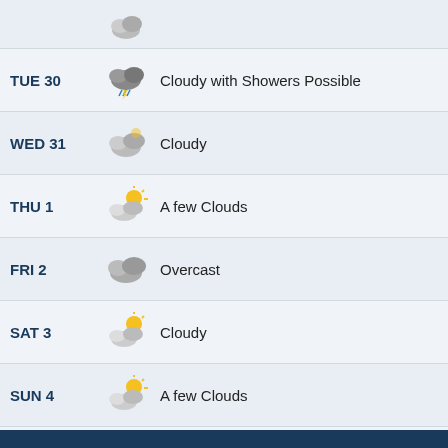TUE 30 — Cloudy with Showers Possible
WED 31 — Cloudy
THU 1 — A few Clouds
FRI 2 — Overcast
SAT 3 — Cloudy
SUN 4 — A few Clouds
MON 5 — Cloudy with Showers Possible
Local Warnings
Very Warm: MON 29, TUE 30, WED 31, THU 1, FRI 2, SAT 3, SUN 4, MON 5
Updated: SUN 21 Aug